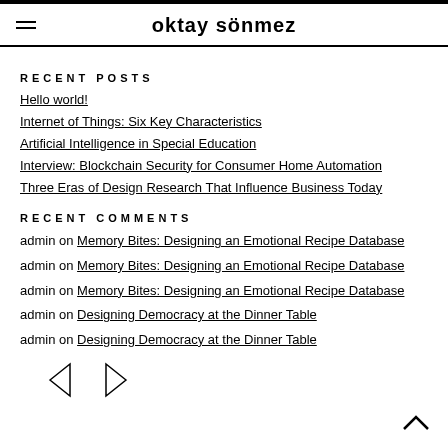oktay sönmez
RECENT POSTS
Hello world!
Internet of Things: Six Key Characteristics
Artificial Intelligence in Special Education
Interview: Blockchain Security for Consumer Home Automation
Three Eras of Design Research That Influence Business Today
RECENT COMMENTS
admin on Memory Bites: Designing an Emotional Recipe Database
admin on Memory Bites: Designing an Emotional Recipe Database
admin on Memory Bites: Designing an Emotional Recipe Database
admin on Designing Democracy at the Dinner Table
admin on Designing Democracy at the Dinner Table